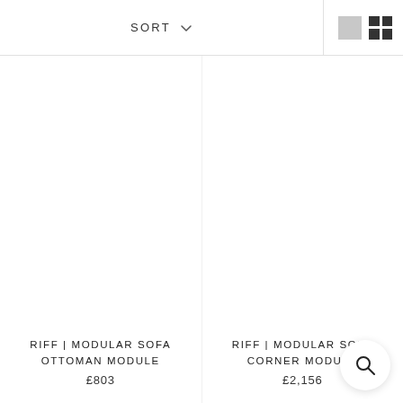SORT
RIFF | MODULAR SOFA OTTOMAN MODULE
£803
RIFF | MODULAR SOFA CORNER MODULE
£2,156